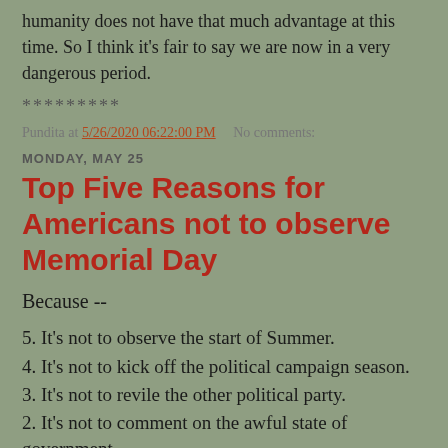humanity does not have that much advantage at this time. So I think it's fair to say we are now in a very dangerous period.
*********
Pundita at 5/26/2020 06:22:00 PM   No comments:
MONDAY, MAY 25
Top Five Reasons for Americans not to observe Memorial Day
Because --
5. It's not to observe the start of Summer.
4. It's not to kick off the political campaign season.
3. It's not to revile the other political party.
2. It's not to comment on the awful state of government.
1. It's not the start of barbecue season.